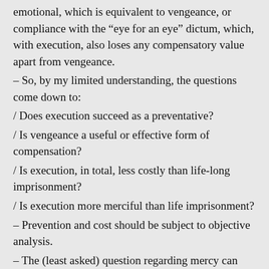emotional, which is equivalent to vengeance, or compliance with the “eye for an eye” dictum, which, with execution, also loses any compensatory value apart from vengeance.
– So, by my limited understanding, the questions come down to:
/ Does execution succeed as a preventative?
/ Is vengeance a useful or effective form of compensation?
/ Is execution, in total, less costly than life-long imprisonment?
/ Is execution more merciful than life imprisonment?
– Prevention and cost should be subject to objective analysis.
– The (least asked) question regarding mercy can likely only be answered in individual cases, due to